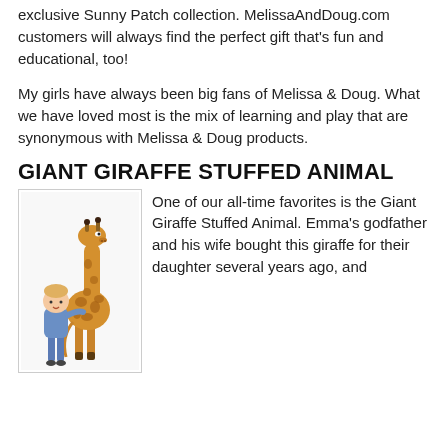exclusive Sunny Patch collection. MelissaAndDoug.com customers will always find the perfect gift that's fun and educational, too!
My girls have always been big fans of Melissa & Doug. What we have loved most is the mix of learning and play that are synonymous with Melissa & Doug products.
GIANT GIRAFFE STUFFED ANIMAL
[Figure (photo): A giant stuffed giraffe toy standing next to a toddler boy for scale, showing the giraffe is much taller than the child.]
One of our all-time favorites is the Giant Giraffe Stuffed Animal. Emma's godfather and his wife bought this giraffe for their daughter several years ago, and